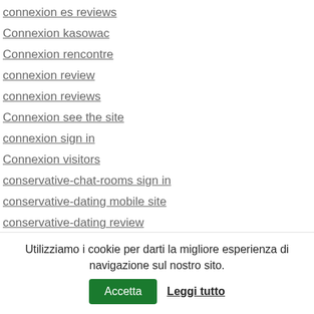connexion es reviews
Connexion kasowac
Connexion rencontre
connexion review
connexion reviews
Connexion see the site
connexion sign in
Connexion visitors
conservative-chat-rooms sign in
conservative-dating mobile site
conservative-dating review
conservative-dating-canada review
continental payday loans
coral springs web
coral-springs escort
coral-springs escort directory
Utilizziamo i cookie per darti la migliore esperienza di navigazione sul nostro sito. Accetta Leggi tutto